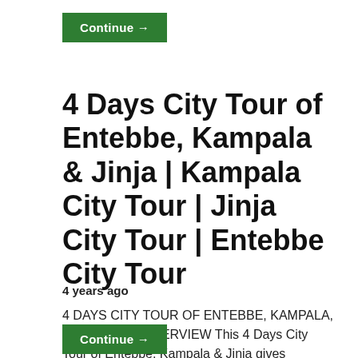[Figure (other): Green 'Continue →' button at top]
4 Days City Tour of Entebbe, Kampala & Jinja | Kampala City Tour | Jinja City Tour | Entebbe City Tour
4 years ago
4 DAYS CITY TOUR OF ENTEBBE, KAMPALA, JINJA. TOUR OVERVIEW This 4 Days City Tour of Entebbe, Kampala & Jinja gives
[Figure (other): Green 'Continue →' button at bottom]